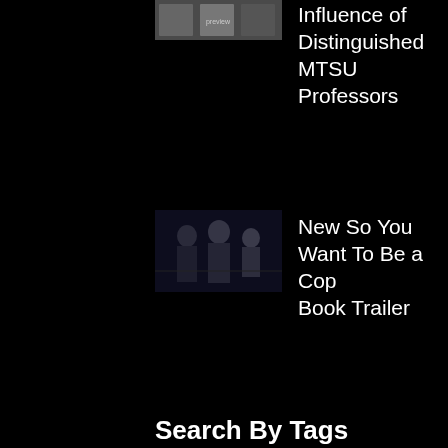Influence of Distinguished MTSU Professors
New So You Want To Be a Cop Book Trailer
Author Event - Marshall County Memorial Library
Author Event - Maury County Public Library
Search By Tags